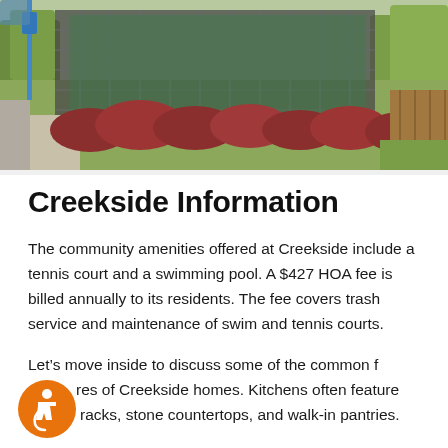[Figure (photo): Outdoor photo of Creekside community showing tennis courts with dark mesh fencing, a row of red/pink flowering shrubs along a concrete path, wooden privacy fences, and green lawns with trees in the background. A blue sign post is visible on the left.]
Creekside Information
The community amenities offered at Creekside include a tennis court and a swimming pool. A $427 HOA fee is billed annually to its residents. The fee covers trash service and maintenance of swim and tennis courts.
Let's move inside to discuss some of the common features of Creekside homes. Kitchens often feature racks, stone countertops, and walk-in pantries.